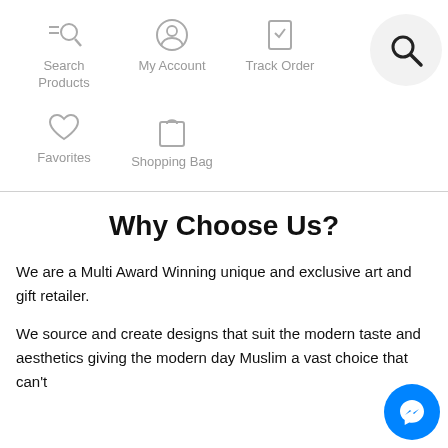[Figure (infographic): Navigation menu icons: Search Products, My Account, Track Order, Favorites, Shopping Bag with a highlighted search circle overlay]
Why Choose Us?
We are a Multi Award Winning unique and exclusive art and gift retailer.
We source and create designs that suit the modern taste and aesthetics giving the modern day Muslim a vast choice that can't